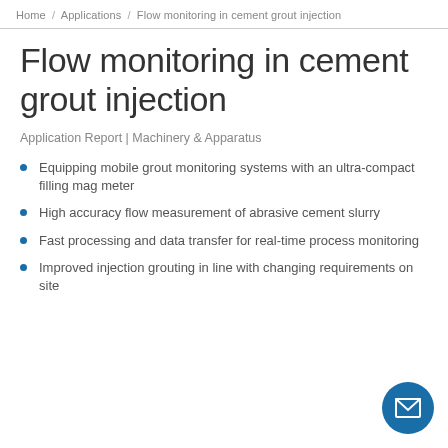Home / Applications / Flow monitoring in cement grout injection
Flow monitoring in cement grout injection
Application Report | Machinery & Apparatus
Equipping mobile grout monitoring systems with an ultra-compact filling mag meter
High accuracy flow measurement of abrasive cement slurry
Fast processing and data transfer for real-time process monitoring
Improved injection grouting in line with changing requirements on site